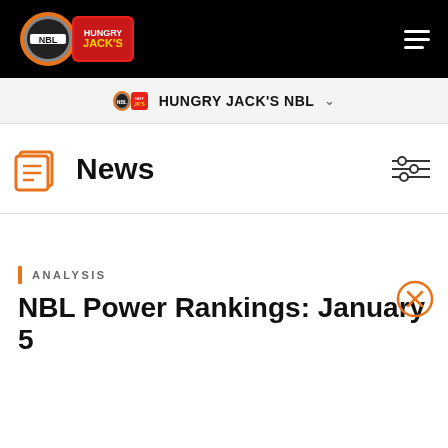NBL Hungry Jack's — Navigation header with logo and hamburger menu
HUNGRY JACK'S NBL
News
ANALYSIS
NBL Power Rankings: January 5